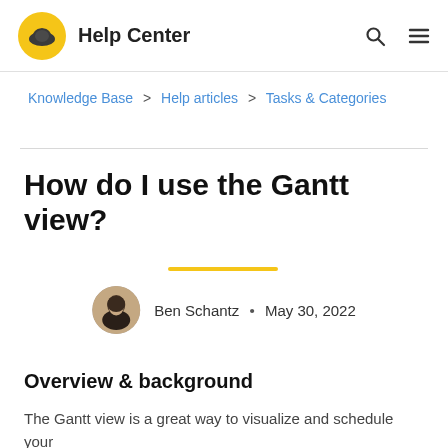Help Center
Knowledge Base > Help articles > Tasks & Categories
How do I use the Gantt view?
Ben Schantz • May 30, 2022
Overview & background
The Gantt view is a great way to visualize and schedule your